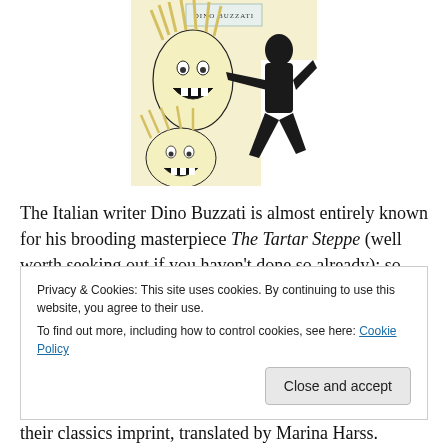[Figure (illustration): Book cover illustration for Dino Buzzati showing comic-style artwork of screaming figures with blonde hair and a black silhouetted figure, with 'DINO BUZZATI' text at the top of the cover]
The Italian writer Dino Buzzati is almost entirely known for his brooding masterpiece The Tartar Steppe (well worth seeking out if you haven't done so already); so much so that I assumed he was one of those writers who live on in
Privacy & Cookies: This site uses cookies. By continuing to use this website, you agree to their use.
To find out more, including how to control cookies, see here: Cookie Policy
their classics imprint, translated by Marina Harss.